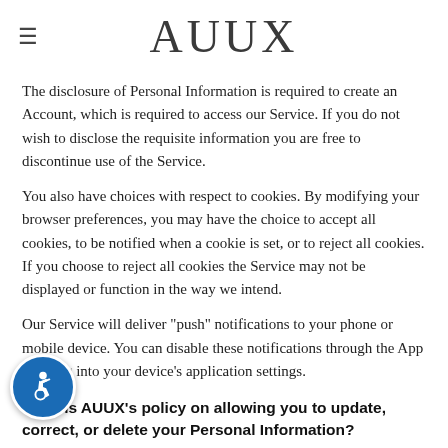AUUX
The disclosure of Personal Information is required to create an Account, which is required to access our Service. If you do not wish to disclose the requisite information you are free to discontinue use of the Service.
You also have choices with respect to cookies. By modifying your browser preferences, you may have the choice to accept all cookies, to be notified when a cookie is set, or to reject all cookies. If you choose to reject all cookies the Service may not be displayed or function in the way we intend.
Our Service will deliver "push" notifications to your phone or mobile device. You can disable these notifications through the App or going into your device's application settings.
What is AUUX’s policy on allowing you to update, correct, or delete your Personal Information?
If you wish to update, correct, or delete any of the information